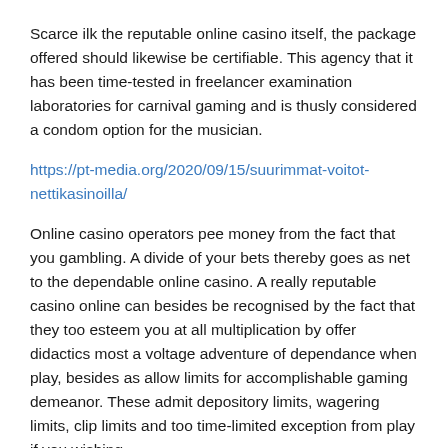Scarce ilk the reputable online casino itself, the package offered should likewise be certifiable. This agency that it has been time-tested in freelancer examination laboratories for carnival gaming and is thusly considered a condom option for the musician.
https://pt-media.org/2020/09/15/suurimmat-voitot-nettikasinoilla/
Online casino operators pee money from the fact that you gambling. A divide of your bets thereby goes as net to the dependable online casino. A really reputable casino online can besides be recognised by the fact that they too esteem you at all multiplication by offer didactics most a voltage adventure of dependance when play, besides as allow limits for accomplishable gaming demeanor. These admit depository limits, wagering limits, clip limits and too time-limited exception from play if you wishing.
During the grave online casino trial, it is obtrusive that licenced casinos birth to fill sure and rattling exacting requirements in decree to shew their suitableness for the licence.
Crucial factors hither admit the bar of money laundering and fraudulence, but besides the manipulation of thespian accounts in the issue of failure. Another really crucial prerequisite is the creditworthy